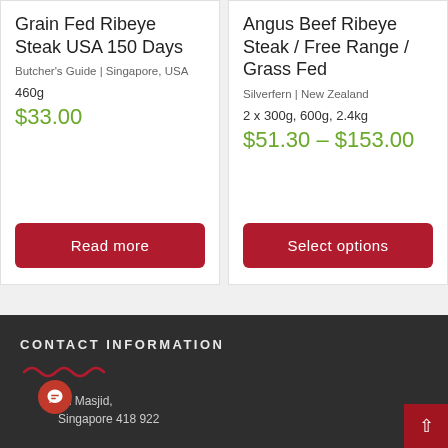Grain Fed Ribeye Steak USA 150 Days
Butcher's Guide | Singapore, USA
460g
$33.00
Read more
Angus Beef Ribeye Steak / Free Range / Grass Fed
Silverfern | New Zealand
2 x 300g, 600g, 2.4kg
$51.30 – $153.00
Select options
CONTACT INFORMATION
an Masjid, Singapore 418 922